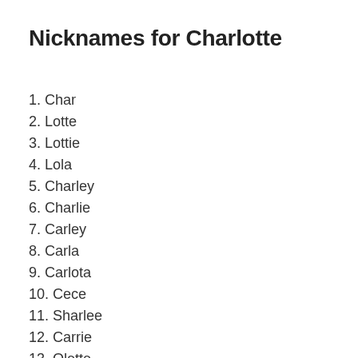Nicknames for Charlotte
1. Char
2. Lotte
3. Lottie
4. Lola
5. Charley
6. Charlie
7. Carley
8. Carla
9. Carlota
10. Cece
11. Sharlee
12. Carrie
13. Olette
14. Lettie
15. Sharla